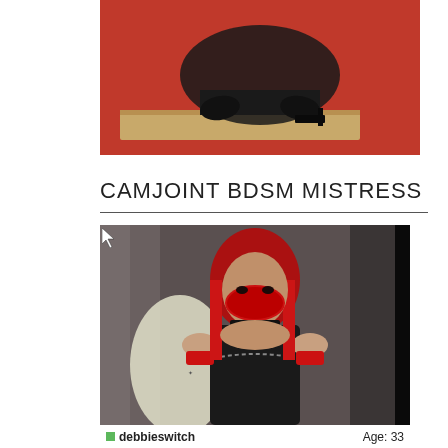[Figure (photo): Top cropped photo of a person in black latex outfit on a wooden platform against a red background]
CAMJOINT BDSM MISTRESS
[Figure (photo): Woman with red hair wearing a red mask and red wrist cuffs connected by a chain, dressed in a black studded leather corset, standing in a stone archway corridor]
debbieswitch   Age: 33